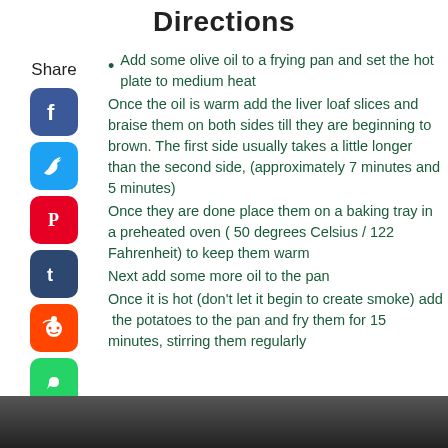Directions
Add some olive oil to a frying pan and set the hot plate to medium heat
Once the oil is warm add the liver loaf slices and braise them on both sides till they are beginning to brown. The first side usually takes a little longer than the second side, (approximately 7 minutes and 5 minutes)
Once they are done place them on a baking tray in a preheated oven ( 50 degrees Celsius / 122 Fahrenheit) to keep them warm
Next add some more oil to the pan
Once it is hot (don't let it begin to create smoke) add  the potatoes to the pan and fry them for 15 minutes, stirring them regularly
[Figure (photo): Photo of food being cooked in a pan, partially visible at the bottom of the page]